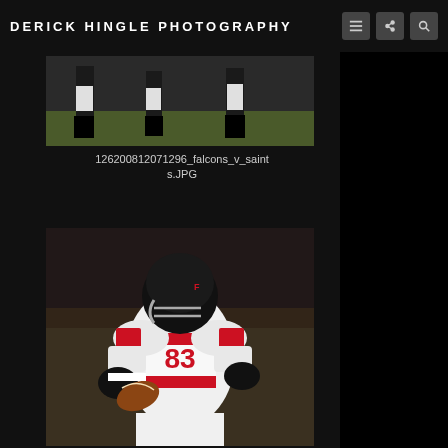DERICK HINGLE PHOTOGRAPHY
[Figure (photo): Football players legs/feet on field, cropped action shot, Falcons v Saints game]
126200812071296_falcons_v_saints.JPG
[Figure (photo): Atlanta Falcons player number 83 running with football, white and red uniform with black helmet, indoor stadium]
126200812071260_falcons_v_saint